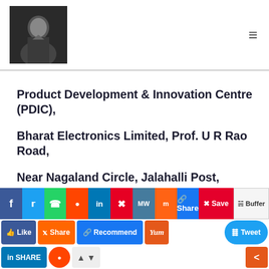[Header with profile photo and hamburger menu]
Product Development & Innovation Centre (PDIC),
Bharat Electronics Limited, Prof. U R Rao Road,
Near Nagaland Circle, Jalahalli Post,
Bengaluru – 560 013, India.
The application should reach the given address on or
[Figure (screenshot): Social media sharing toolbar with buttons: Facebook, Twitter, WhatsApp, Reddit, LinkedIn, Pinterest, MeWe, Mix, Share, Save, Buffer, Like, Share, Recommend, Yum, Tweet, LinkedIn Share, Reddit, up/down arrows, share icon]